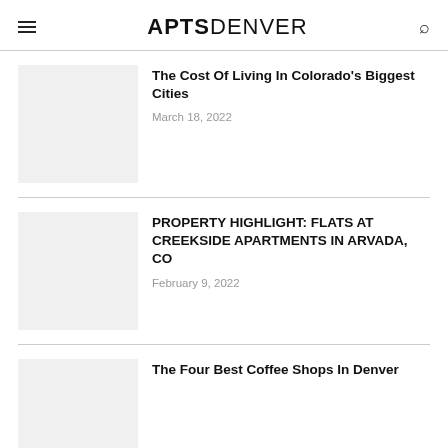APTSDENVER
The Cost Of Living In Colorado's Biggest Cities
March 18, 2022
PROPERTY HIGHLIGHT: FLATS AT CREEKSIDE APARTMENTS IN ARVADA, CO
February 9, 2022
The Four Best Coffee Shops In Denver